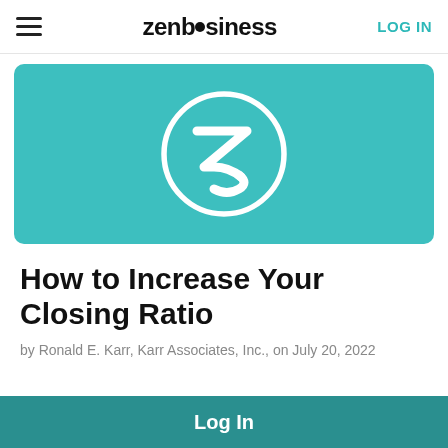zenbusiness  LOG IN
[Figure (logo): ZenBusiness teal hero banner with white stylized Z logo on teal/turquoise background]
How to Increase Your Closing Ratio
by Ronald E. Karr, Karr Associates, Inc., on July 20, 2022
Log In